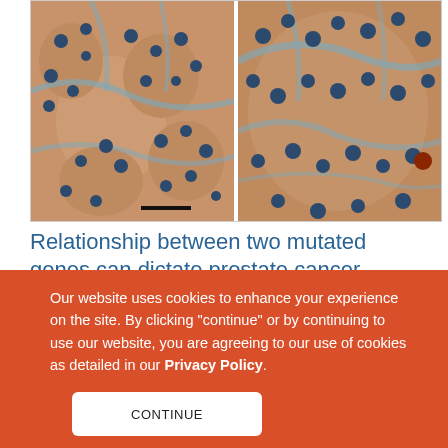[Figure (photo): Two microscopy images side by side showing prostate tissue cross-sections with immunohistochemical staining. Cells stained in orange/brown tones with dark blue nuclei, showing tissue structure with rounded tubular formations.]
Relationship between two mutated genes can dictate prostate cancer outcome, aid treatment decisions
8/15/2011
Research have discovered a way to distinguish
Our website uses cookies to enhance your experience on the site. By clicking "continue" or by continuing to use our website, you are agreeing to our use of cookies as detailed in our Privacy Policy.
CONTINUE